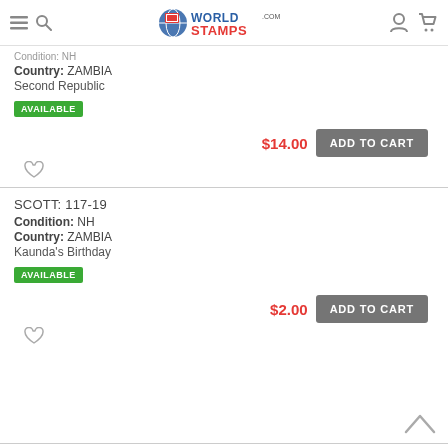WorldStamps.com
Condition: NH
Country: ZAMBIA
Second Republic
AVAILABLE
$14.00  ADD TO CART
SCOTT: 117-19
Condition: NH
Country: ZAMBIA
Kaunda's Birthday
AVAILABLE
$2.00  ADD TO CART